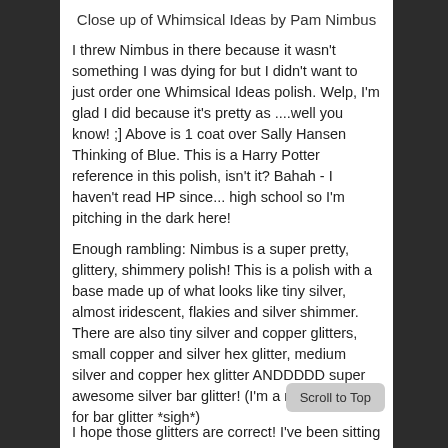Close up of Whimsical Ideas by Pam Nimbus
I threw Nimbus in there because it wasn't something I was dying for but I didn't want to just order one Whimsical Ideas polish. Welp, I'm glad I did because it's pretty as ....well you know! ;] Above is 1 coat over Sally Hansen Thinking of Blue. This is a Harry Potter reference in this polish, isn't it? Bahah - I haven't read HP since... high school so I'm pitching in the dark here!
Enough rambling: Nimbus is a super pretty, glittery, shimmery polish! This is a polish with a base made up of what looks like tiny silver, almost iridescent, flakies and silver shimmer. There are also tiny silver and copper glitters, small copper and silver hex glitter, medium silver and copper hex glitter ANDDDDD super awesome silver bar glitter! (I'm a major sucker for bar glitter *sigh*)
I hope those glitters are correct! I've been sitting